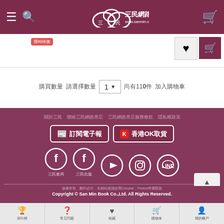三民網路書店 www.sanmin.com.tw
購買數量: 請選擇數量 1 ▼ 尚有110件 加入購物車
[Figure (screenshot): Footer area of San Min Book website with newsletter subscription button (訂閱電子報) and Hong Kong OK pickup button (香港OK取貨), social media icons for Facebook (三民書局, 三民出版), YouTube, Instagram, and LINE]
三民書局　三民出版
版權所有．翻印必究．本網站建議使用Chrome，Firefox等瀏覽器
Copyright © San Min Book Co.,Ltd. All Rights Reserved.
排行榜　常見問題　收藏　購物車　我的帳戶